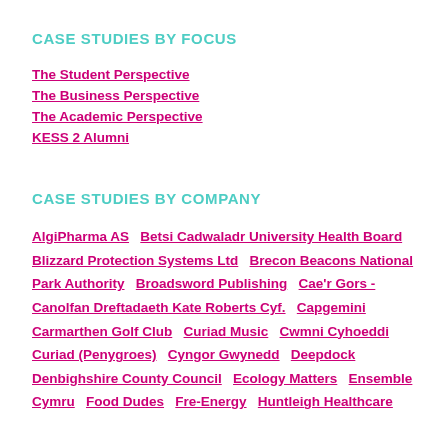CASE STUDIES BY FOCUS
The Student Perspective
The Business Perspective
The Academic Perspective
KESS 2 Alumni
CASE STUDIES BY COMPANY
AlgiPharma AS  Betsi Cadwaladr University Health Board  Blizzard Protection Systems Ltd  Brecon Beacons National Park Authority  Broadsword Publishing  Cae'r Gors - Canolfan Dreftadaeth Kate Roberts Cyf.  Capgemini  Carmarthen Golf Club  Curiad Music  Cwmni Cyhoeddi Curiad (Penygroes)  Cyngor Gwynedd  Deepdock  Denbighshire County Council  Ecology Matters  Ensemble Cymru  Food Dudes  Fre-Energy  Huntleigh Healthcare